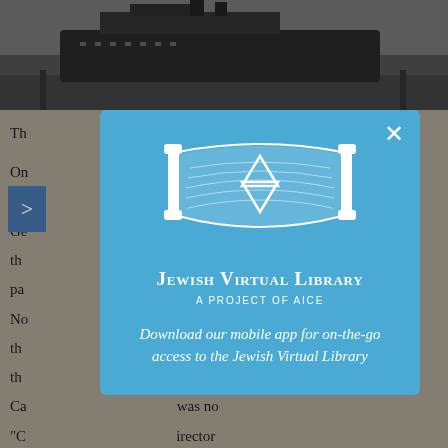[Figure (photo): Black and white photograph of a large ocean liner/ship docked at a port]
Th...
On... g 907 Je... m Ham Ge... when i th... to reco pa... to dis No... refuge th... ted Sta th... he pro Ca... was no "C... irector In... and Re was quoted as saying, "No country could open its doors w enough to take in the hundreds of thousands of Jewish r
[Figure (logo): Jewish Virtual Library - A Project of AICE logo with Torah scroll and Star of David]
Download our mobile app for on-the-go access to the Jewish Virtual Library